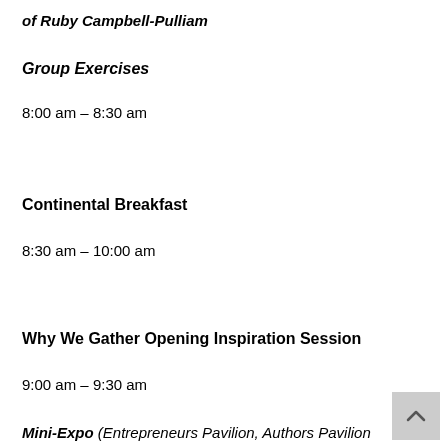of Ruby Campbell-Pulliam
Group Exercises
8:00 am – 8:30 am
Continental Breakfast
8:30 am – 10:00 am
Why We Gather Opening Inspiration Session
9:00 am – 9:30 am
Mini-Expo (Entrepreneurs Pavilion, Authors Pavilion